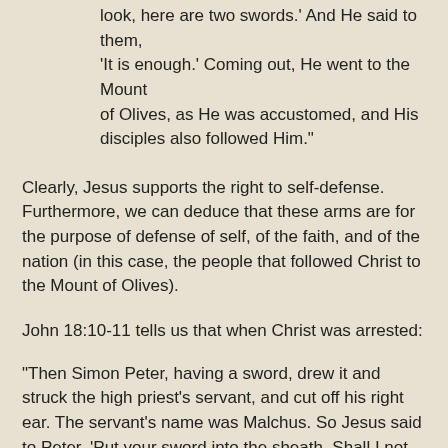look, here are two swords.' And He said to them, 'It is enough.' Coming out, He went to the Mount of Olives, as He was accustomed, and His disciples also followed Him."
Clearly, Jesus supports the right to self-defense. Furthermore, we can deduce that these arms are for the purpose of defense of self, of the faith, and of the nation (in this case, the people that followed Christ to the Mount of Olives).
John 18:10-11 tells us that when Christ was arrested:
"Then Simon Peter, having a sword, drew it and struck the high priest's servant, and cut off his right ear. The servant's name was Malchus. So Jesus said to Peter, 'Put your sword into the sheath. Shall I not drink the cup which My Father has given Me?'"
The admonition was to sheath the weapon, not to abandon or relinquish it. This was not a renunciation of defense,